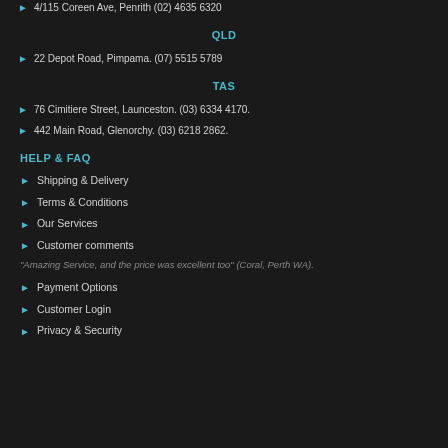4/115 Coreen Ave, Penrith (02) 4635 6320
QLD
22 Depot Road, Pimpama. (07) 5515 5789
TAS
76 Cimitiere Street, Launceston. (03) 6334 4170.
442 Main Road, Glenorchy. (03) 6218 2862.
HELP & FAQ
Shipping & Delivery
Terms & Conditions
Our Services
Customer comments
"Amazing Service, and the price was excellent too" (Coral, Perth WA).
Payment Options
Customer Login
Privacy & Security